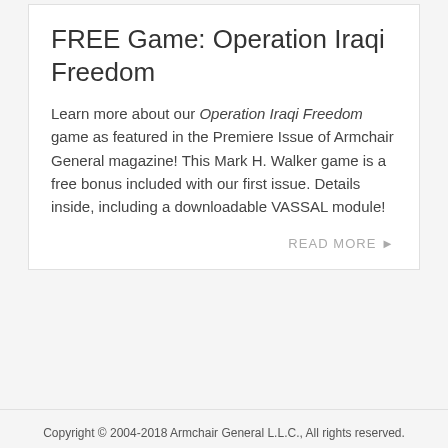FREE Game: Operation Iraqi Freedom
Learn more about our Operation Iraqi Freedom game as featured in the Premiere Issue of Armchair General magazine! This Mark H. Walker game is a free bonus included with our first issue. Details inside, including a downloadable VASSAL module!
READ MORE ▶
Copyright © 2004-2018 Armchair General L.L.C., All rights reserved.